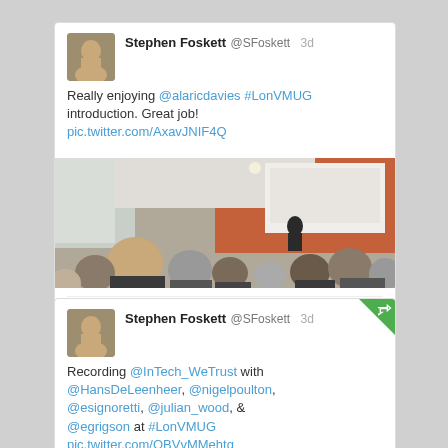[Figure (screenshot): Tweet from Stephen Foskett (@SFoskett) 3d ago: 'Really enjoying @alaricdavies #LonVMUG introduction. Great job! pic.twitter.com/AxavJNIF4Q' with embedded photo of conference audience from behind facing a speaker at a screen, plus tweet action bar with Details, reply, retweet, favorite, more icons.]
[Figure (screenshot): Tweet from Stephen Foskett (@SFoskett) 3d ago with green retweet badge: 'Recording @InTech_WeTrust with @HansDeLeenheer, @nigelpoulton, @esignoretti, @julian_wood, & @egrigson at #LonVMUG pic.twitter.com/OBVvMMehtq' — tweet is cut off at bottom.]